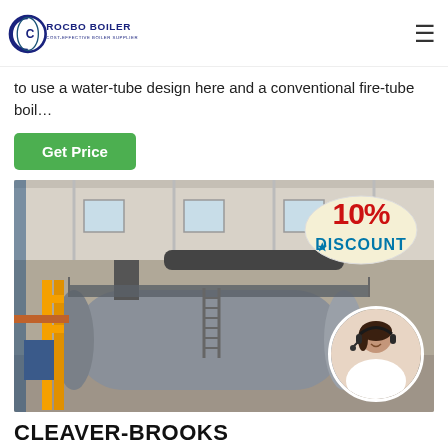ROCBO BOILER - COST-EFFECTIVE BOILER SUPPLIER
to use a water-tube design here and a conventional fire-tube boil…
Get Price
[Figure (photo): Industrial boiler room with large cylindrical fire-tube boiler, yellow piping, metal walkway, and a 10% Discount badge overlay with a customer service representative in a circular inset]
CLEAVER-BROOKS